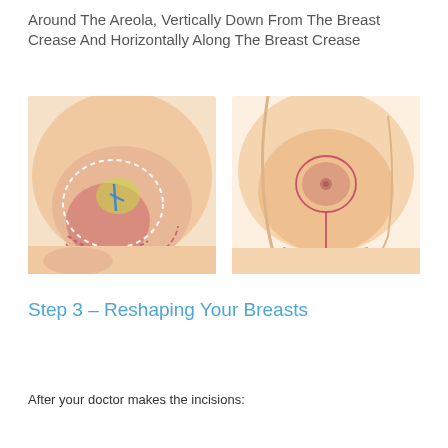Around The Areola, Vertically Down From The Breast Crease And Horizontally Along The Breast Crease
[Figure (illustration): Two medical illustrations side by side showing breast surgery incision patterns. Left image shows a close-up of incision lines with dashed outlines around tissue and blue/yellow highlighted areas. Right image shows the resulting breast shape from the front with circular incision marks around the areola and a vertical line down.]
Step 3 – Reshaping Your Breasts
After your doctor makes the incisions: